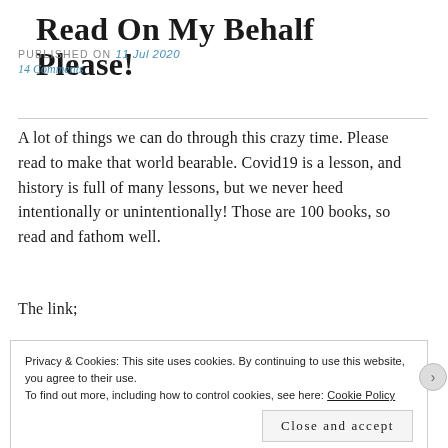Read On My Behalf Please!
PUBLISHED ON 11 Jul 2020
14 Comments
A lot of things we can do through this crazy time. Please read to make that world bearable. Covid19 is a lesson, and history is full of many lessons, but we never heed intentionally or unintentionally! Those are 100 books, so read and fathom well.
The link;
Privacy & Cookies: This site uses cookies. By continuing to use this website, you agree to their use.
To find out more, including how to control cookies, see here: Cookie Policy
Close and accept